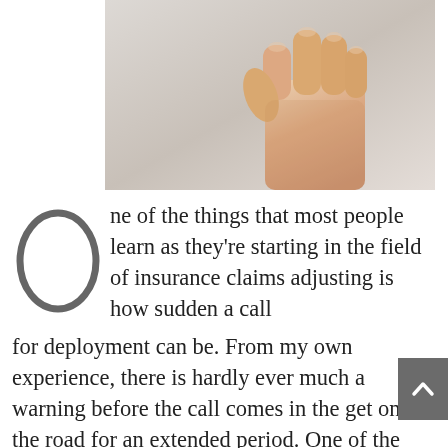[Figure (photo): A hand raised with fist, photographed against white/grey gradient background, cropped so only the hand and lower arm are visible.]
One of the things that most people learn as they're starting in the field of insurance claims adjusting is how sudden a call for deployment can be. From my own experience, there is hardly ever much a warning before the call comes in the get on the road for an extended period. One of the last things you want to have happened is for a deployment order to arrive during a time when